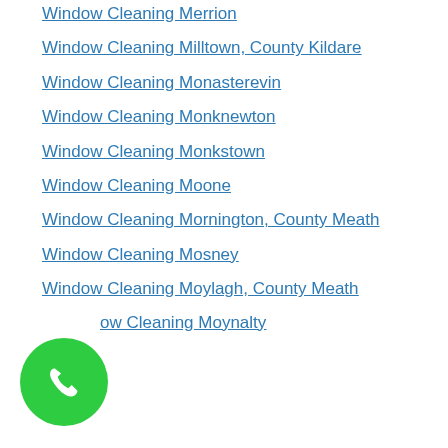Window Cleaning Merrion
Window Cleaning Milltown, County Kildare
Window Cleaning Monasterevin
Window Cleaning Monknewton
Window Cleaning Monkstown
Window Cleaning Moone
Window Cleaning Mornington, County Meath
Window Cleaning Mosney
Window Cleaning Moylagh, County Meath
Window Cleaning Moynalty